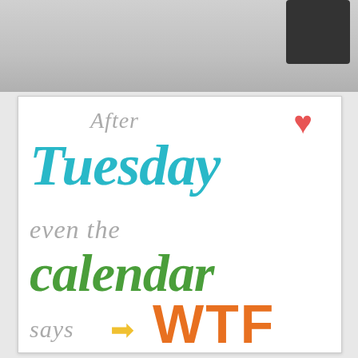[Figure (photo): Top portion of a photo showing a dark colored object on a gray/white background]
[Figure (illustration): Humorous typographic quote card with colorful text reading: After Tuesday even the calendar says WTF, with a red heart icon and yellow arrow. 'After' in gray italic, 'Tuesday' in large teal italic, 'even the' in gray italic, 'calendar' in large green italic, 'says' in gray italic, yellow arrow, 'WTF' in large orange bold.]